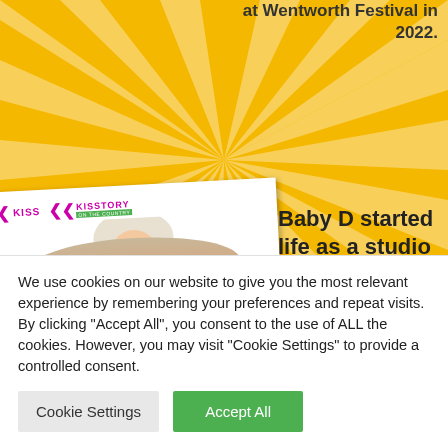at Wentworth Festival in 2022.
[Figure (photo): Woman with blonde hair posing in front of KISS and KISSTORY branded backdrop]
Baby D started life as a studio group put together by
We use cookies on our website to give you the most relevant experience by remembering your preferences and repeat visits. By clicking "Accept All", you consent to the use of ALL the cookies. However, you may visit "Cookie Settings" to provide a controlled consent.